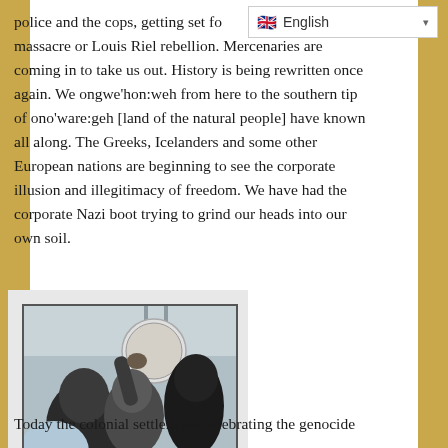police and the cops, getting set fo massacre or Louis Riel rebellion. Mercenaries are coming in to take us out. History is being rewritten once again. We ongwe'hon:weh from here to the southern tip of ono'ware:geh [land of the natural people] have known all along. The Greeks, Icelanders and some other European nations are beginning to see the corporate illusion and illegitimacy of freedom. We have had the corporate Nazi boot trying to grind our heads into our own soil.
[Figure (photo): A black and white photo showing people in a crowd, with someone appearing to get a pie in the face.]
— PM Harper gets pie in the face.
Today the colonial settlers are celebrating the genocide